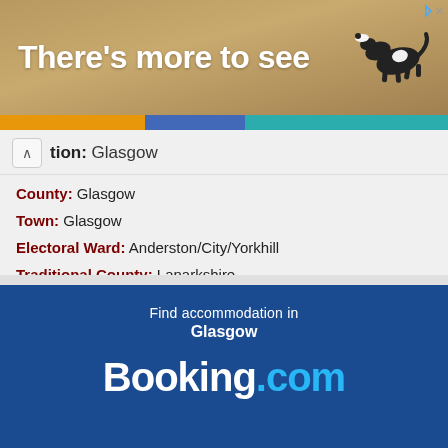[Figure (illustration): Advertisement banner with 'There's more to see' text and an image of a dog running on a sandy beach surface. Below the banner is a color bar with orange, blue, and teal segments.]
Location: Glasgow
County: Glasgow
Town: Glasgow
Electoral Ward: Anderston/City/Yorkhill
Traditional County: Lanarkshire
Tagged with: Building
[Figure (logo): Booking.com advertisement panel on dark blue background. Text reads: Find accommodation in Glasgow. Below is the Booking.com logo in white and light blue.]